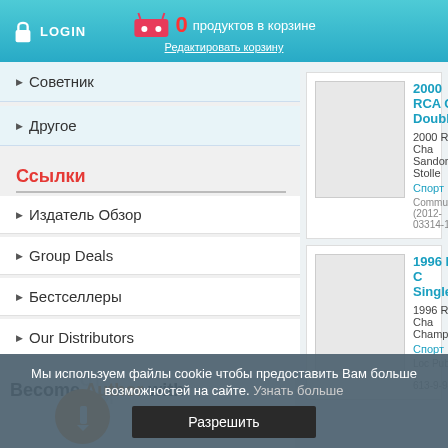LOGIN | 0 продуктов в корзине | Редактировать корзину
▶ Советник
▶ Другое
Ссылки
▶ Издатель Обзор
▶ Group Deals
▶ Бестселлеры
▶ Our Distributors
[Figure (illustration): Become Author with pencil icon banner with watermark text in background]
2000 RCA Championships Doubles
2000 RCA Cha... Sandon Stolle... Спорт Commun (2012- 03314-1
1996 RCA Championships Singles
1996 RCA Cha... Championships... Спорт Loc Publishing ( 613-9-94962-5
Мы используем файлы cookie чтобы предоставить Вам больше возможностей на сайте. Узнать больше
Разрешить